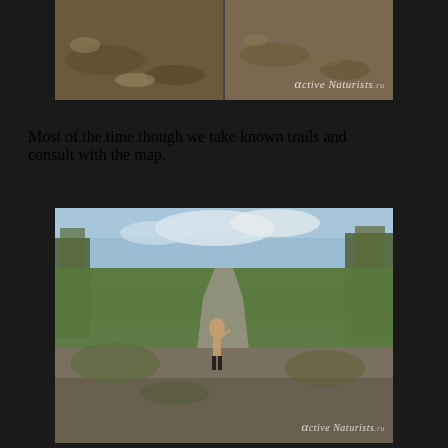[Figure (photo): Outdoor rocky trail or ground surface with dirt and stones, wide-angle view, with ActiveNaturists watermark in bottom right corner]
Most of the time though we take known trails and consult with the map.
[Figure (photo): Wide-angle fisheye outdoor photo of a rocky trail on a hillside with trees and green vegetation, cloudy sky, person standing on the trail with backpack, ActiveNaturists watermark in bottom right corner]